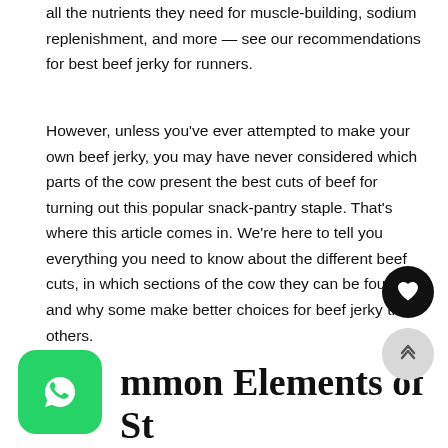all the nutrients they need for muscle-building, sodium replenishment, and more — see our recommendations for best beef jerky for runners.
However, unless you've ever attempted to make your own beef jerky, you may have never considered which parts of the cow present the best cuts of beef for turning out this popular snack-pantry staple. That's where this article comes in. We're here to tell you everything you need to know about the different beef cuts, in which sections of the cow they can be found, and why some make better choices for beef jerky than others.
Common Elements of Standout Beef Jerky